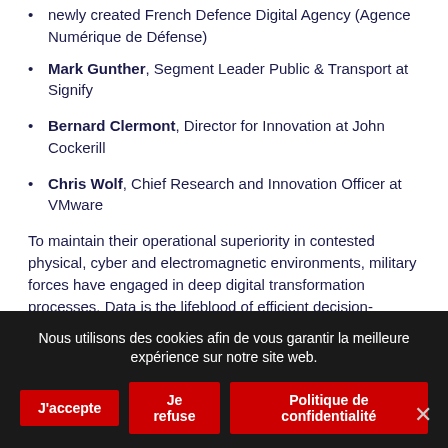newly created French Defence Digital Agency (Agence Numérique de Défense)
Mark Gunther, Segment Leader Public & Transport at Signify
Bernard Clermont, Director for Innovation at John Cockerill
Chris Wolf, Chief Research and Innovation Officer at VMware
To maintain their operational superiority in contested physical, cyber and electromagnetic environments, military forces have engaged in deep digital transformation processes. Data is the lifeblood of efficient decision-making in modern warfare: processed into valuable information, it enables military commanders to take faster and informed decisions by leveraging a constantly updated vision of the battlefield. Never...
Nous utilisons des cookies afin de vous garantir la meilleure expérience sur notre site web.
J'accepte | Je refuse | Politique de confidentialité